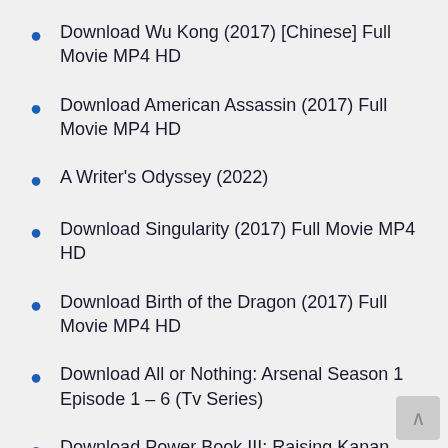Download Wu Kong (2017) [Chinese] Full Movie MP4 HD
Download American Assassin (2017) Full Movie MP4 HD
A Writer's Odyssey (2022)
Download Singularity (2017) Full Movie MP4 HD
Download Birth of the Dragon (2017) Full Movie MP4 HD
Download All or Nothing: Arsenal Season 1 Episode 1 – 6 (Tv Series)
Download Power Book III: Raising Kanan Season 1 (Complete) Tv Series
Download Power Book III: Raising Kanan